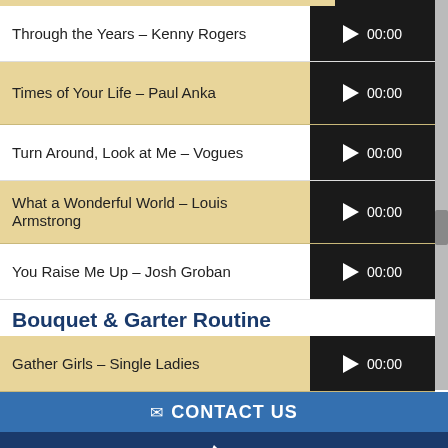Through the Years – Kenny Rogers
Times of Your Life – Paul Anka
Turn Around, Look at Me – Vogues
What a Wonderful World – Louis Armstrong
You Raise Me Up – Josh Groban
Bouquet & Garter Routine
Gather Girls – Single Ladies
✉ CONTACT US
[Figure (illustration): White phone handset icon on dark blue background]